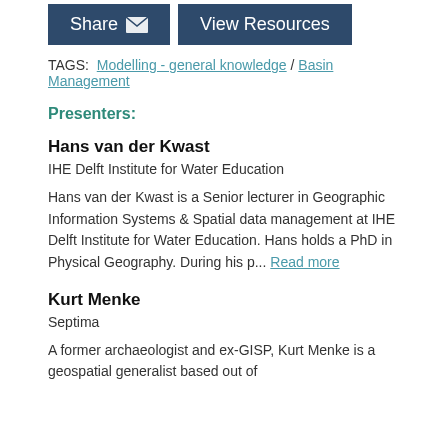[Figure (other): Two buttons: 'Share' with envelope icon and 'View Resources' on dark navy background]
TAGS:  Modelling - general knowledge / Basin Management
Presenters:
Hans van der Kwast
IHE Delft Institute for Water Education
Hans van der Kwast is a Senior lecturer in Geographic Information Systems & Spatial data management at IHE Delft Institute for Water Education. Hans holds a PhD in Physical Geography. During his p... Read more
Kurt Menke
Septima
A former archaeologist and ex-GISP, Kurt Menke is a geospatial generalist based out of